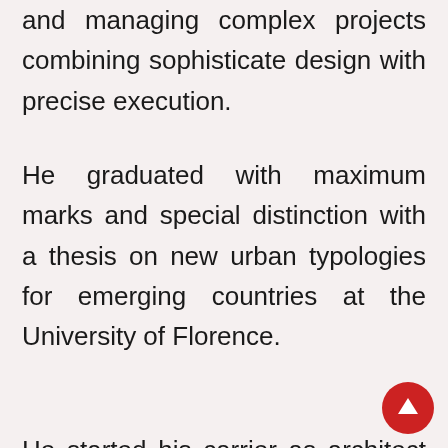and managing complex projects combining sophisticate design with precise execution.
He graduated with maximum marks and special distinction with a thesis on new urban typologies for emerging countries at the University of Florence.
He started his carrier as architect collaborating with Studio Archea in Florence and since 2008 in Beijing, China. In 2010 he became partner associate of Archea as director of the Beijing office...